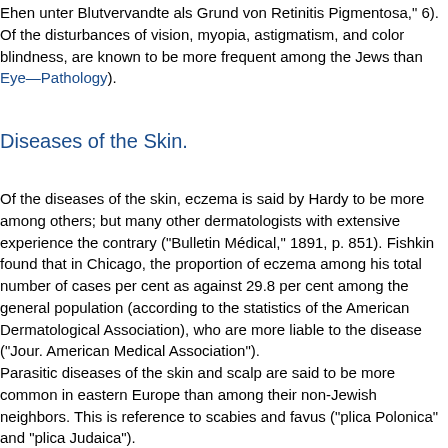Ehen unter Blutvervandte als Grund von Retinitis Pigmentosa," 6). Of the disturbances of vision, myopia, astigmatism, and color blindness, are known to be more frequent among the Jews than Eye—Pathology).
Diseases of the Skin.
Of the diseases of the skin, eczema is said by Hardy to be more among others; but many other dermatologists with extensive experience the contrary ("Bulletin Médical," 1891, p. 851). Fishkin found that in Chicago, the proportion of eczema among his total number of cases per cent as against 29.8 per cent among the general population (according to the statistics of the American Dermatological Association), who are more liable to the disease ("Jour. American Medical Association").
Parasitic diseases of the skin and scalp are said to be more common in eastern Europe than among their non-Jewish neighbors. This is with reference to scabies and favus ("plica Polonica" and "plica Judaica").